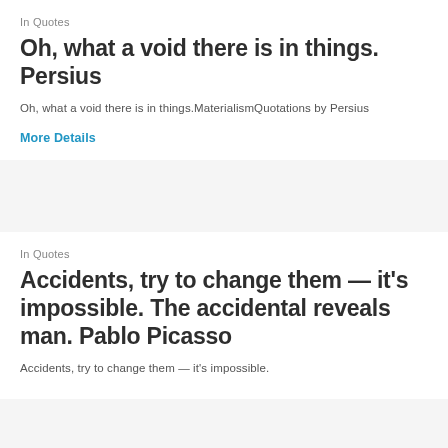In Quotes
Oh, what a void there is in things. Persius
Oh, what a void there is in things.MaterialismQuotations by Persius
More Details
In Quotes
Accidents, try to change them — it's impossible. The accidental reveals man. Pablo Picasso
Accidents, try to change them — it's impossible.